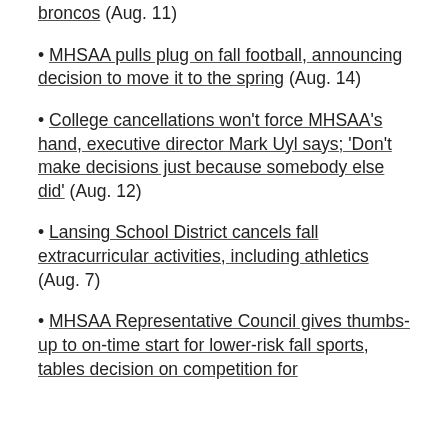broncos (Aug. 11)
• MHSAA pulls plug on fall football, announcing decision to move it to the spring (Aug. 14)
• College cancellations won't force MHSAA's hand, executive director Mark Uyl says; 'Don't make decisions just because somebody else did' (Aug. 12)
• Lansing School District cancels fall extracurricular activities, including athletics (Aug. 7)
• MHSAA Representative Council gives thumbs-up to on-time start for lower-risk fall sports, tables decision on competition for